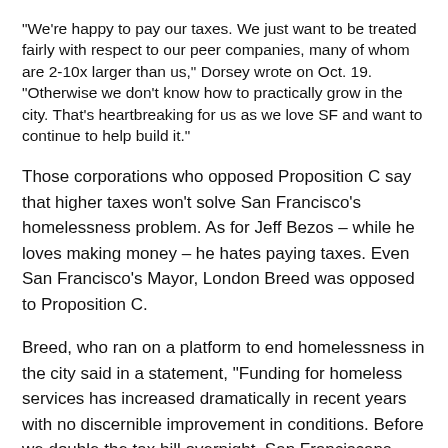“We’re happy to pay our taxes. We just want to be treated fairly with respect to our peer companies, many of whom are 2-10x larger than us,” Dorsey wrote on Oct. 19. “Otherwise we don’t know how to practically grow in the city. That’s heartbreaking for us as we love SF and want to continue to help build it.”
Those corporations who opposed Proposition C say that higher taxes won’t solve San Francisco’s homelessness problem. As for Jeff Bezos – while he loves making money – he hates paying taxes. Even San Francisco’s Mayor, London Breed was opposed to Proposition C.
Breed, who ran on a platform to end homelessness in the city said in a statement, “Funding for homeless services has increased dramatically in recent years with no discernible improvement in conditions. Before we double the tax bill overnight, San Franciscans deserve accountability for the money they are already paying.”